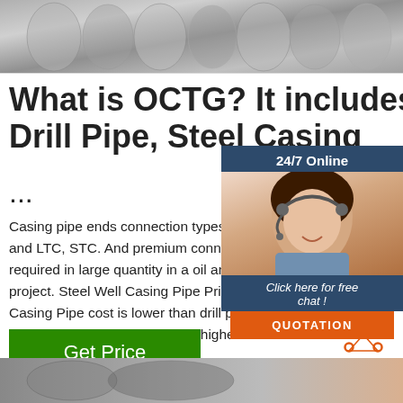[Figure (photo): Close-up photo of metallic steel pipes or rods bundled together, grayish silver tones]
What is OCTG? It includes Drill Pipe, Steel Casing ...
Casing pipe ends connection types usually and LTC, STC. And premium connection required in large quantity in a oil and gas project. Steel Well Casing Pipe Price. Steel Casing Pipe cost is lower than drill pipe OCTG tubing cost, it is usually higher 20 than the regular API 5L pipe.
[Figure (photo): 24/7 online chat widget with a female customer service representative wearing a headset, with a blue background header and orange quotation button]
[Figure (other): Green Get Price button]
[Figure (logo): TOP scroll-to-top icon with orange dots forming a triangle and the word TOP in orange]
[Figure (photo): Bottom strip showing partial images of steel pipes and possibly a person]